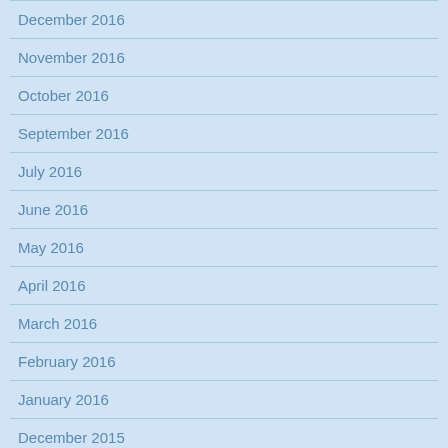December 2016
November 2016
October 2016
September 2016
July 2016
June 2016
May 2016
April 2016
March 2016
February 2016
January 2016
December 2015
November 2015
October 2015
September 2015
August 2015
July 2015